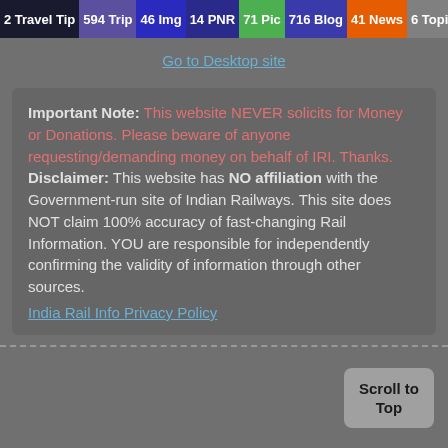2 Travel Tip | 594 Trip | 46 Img | 14 PNR | 71 Pic | 716 Blog | 41 News | 6 Topic
Go to Desktop site
Important Note: This website NEVER solicits for Money or Donations. Please beware of anyone requesting/demanding money on behalf of IRI. Thanks. Disclaimer: This website has NO affiliation with the Government-run site of Indian Railways. This site does NOT claim 100% accuracy of fast-changing Rail Information. YOU are responsible for independently confirming the validity of information through other sources. India Rail Info Privacy Policy
Scroll to Top